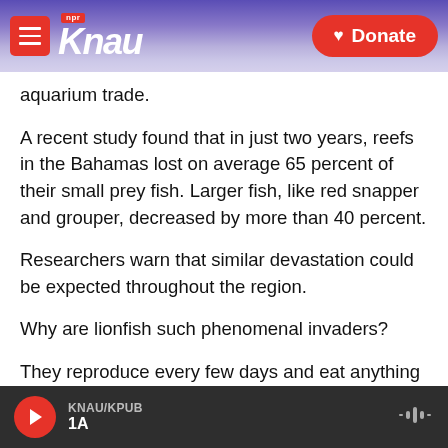KNAU NPR / Donate
aquarium trade.
A recent study found that in just two years, reefs in the Bahamas lost on average 65 percent of their small prey fish. Larger fish, like red snapper and grouper, decreased by more than 40 percent.
Researchers warn that similar devastation could be expected throughout the region.
Why are lionfish such phenomenal invaders?
They reproduce every few days and eat anything
KNAU/KPUB 1A